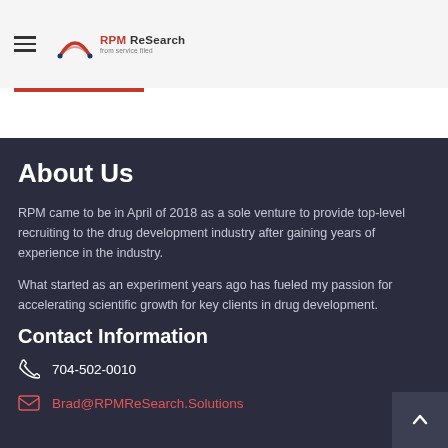RPM ReSearch — hamburger menu and logo header
About Us
RPM came to be in April of 2018 as a sole venture to provide top-level recruiting to the drug development industry after gaining years of experience in the industry.
What started as an experiment years ago has fueled my passion for accelerating scientific growth for key clients in drug development.
Contact Information
704-502-0010
Brad@RPMReSearch.Solutions